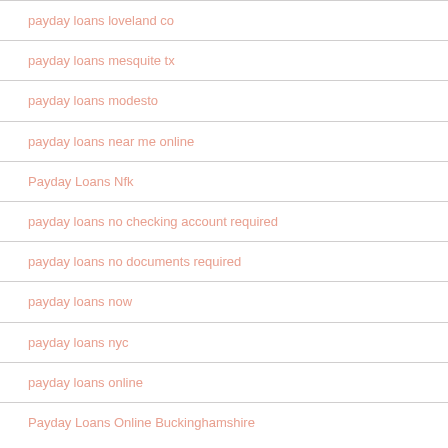payday loans loveland co
payday loans mesquite tx
payday loans modesto
payday loans near me online
Payday Loans Nfk
payday loans no checking account required
payday loans no documents required
payday loans now
payday loans nyc
payday loans online
Payday Loans Online Buckinghamshire